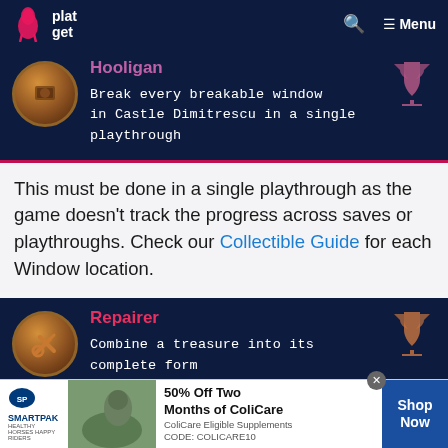platget — Menu
[Figure (screenshot): Hooligan achievement card with bronze badge and trophy icon. Achievement: Break every breakable window in Castle Dimitrescu in a single playthrough]
This must be done in a single playthrough as the game doesn't track the progress across saves or playthroughs. Check our Collectible Guide for each Window location.
[Figure (screenshot): Repairer achievement card with bronze wrench badge and trophy icon. Achievement: Combine a treasure into its complete form]
[Figure (screenshot): SmartPak advertisement: 50% Off Two Months of ColiCare, ColiCare Eligible Supplements, CODE: COLICARE10, Shop Now]